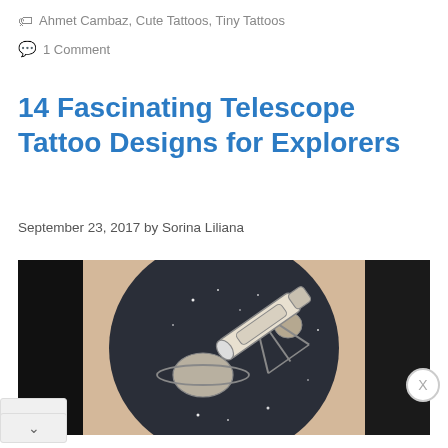🏷 Ahmet Cambaz, Cute Tattoos, Tiny Tattoos
💬 1 Comment
14 Fascinating Telescope Tattoo Designs for Explorers
September 23, 2017 by Sorina Liliana
[Figure (photo): A tattoo on skin depicting a telescope pointing toward a circular space scene with Saturn, planets, and stars in dark ink on a light background, with dark areas on the sides.]